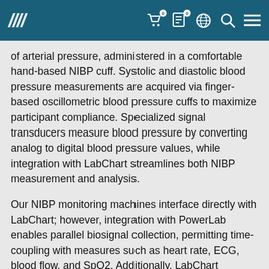ADInstruments navigation header with logo and icons
of arterial pressure, administered in a comfortable hand-based NIBP cuff. Systolic and diastolic blood pressure measurements are acquired via finger-based oscillometric blood pressure cuffs to maximize participant compliance. Specialized signal transducers measure blood pressure by converting analog to digital blood pressure values, while integration with LabChart streamlines both NIBP measurement and analysis.
Our NIBP monitoring machines interface directly with LabChart; however, integration with PowerLab enables parallel biosignal collection, permitting time-coupling with measures such as heart rate, ECG, blood flow, and SpO2. Additionally, LabChart software algorithms permit the detection of hypotension, hypertension, and arrhythmia. The software package enables calculation of a variety of properties including mean arterial pressure (mmHg) and heart rate variability, as well as a host of custom formulated